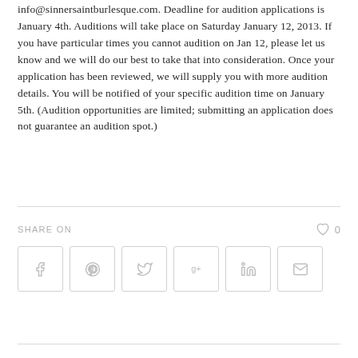info@sinnersaintburlesque.com. Deadline for audition applications is January 4th. Auditions will take place on Saturday January 12, 2013. If you have particular times you cannot audition on Jan 12, please let us know and we will do our best to take that into consideration. Once your application has been reviewed, we will supply you with more audition details. You will be notified of your specific audition time on January 5th. (Audition opportunities are limited; submitting an application does not guarantee an audition spot.)
SHARE ON  ♡ 0
[Figure (other): Social sharing buttons: Facebook, Pinterest, Twitter, Google+, LinkedIn, Email]